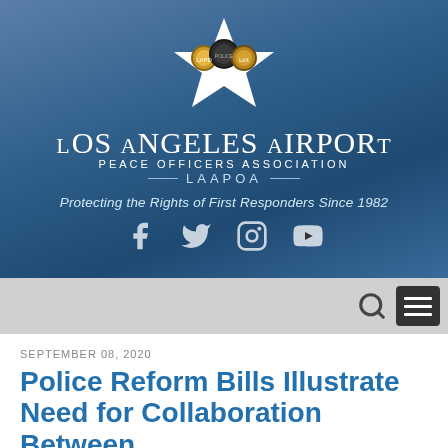[Figure (logo): Los Angeles Airport Peace Officers Association (LAAPOA) logo with star badge and multiple officer badges, white star shape on blue gradient background]
LOS ANGELES AIRPORT
PEACE OFFICERS ASSOCIATION
LAAPOA
Protecting the Rights of First Responders Since 1982
[Figure (other): Social media icons: Facebook, Twitter, Instagram, YouTube]
[Figure (other): Navigation bar with search icon and hamburger menu button]
SEPTEMBER 08, 2020
Police Reform Bills Illustrate Need for Collaboration Between